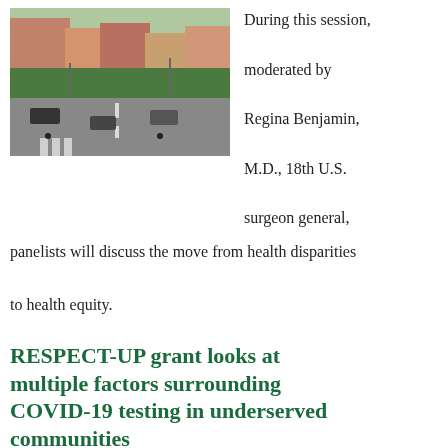[Figure (photo): Aerial view of an urban street intersection with trees, buildings, pedestrians, and cars]
During this session, moderated by Regina Benjamin, M.D., 18th U.S. surgeon general, panelists will discuss the move from health disparities to health equity.
RESPECT-UP grant looks at multiple factors surrounding COVID-19 testing in underserved communities
[Figure (photo): Healthcare worker in mask and face shield conducting COVID-19 testing]
The COVID-19 pandemic shined a